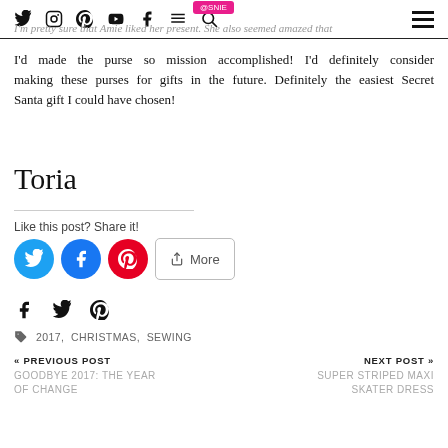Social media navigation icons and hamburger menu
I'm pretty sure that Amie liked her present. She also seemed amazed that
I'd made the purse so mission accomplished! I'd definitely consider making these purses for gifts in the future. Definitely the easiest Secret Santa gift I could have chosen!
Toria
Like this post? Share it!
2017, CHRISTMAS, SEWING
« PREVIOUS POST
GOODBYE 2017: THE YEAR OF CHANGE
NEXT POST »
SUPER STRIPED MAXI SKATER DRESS